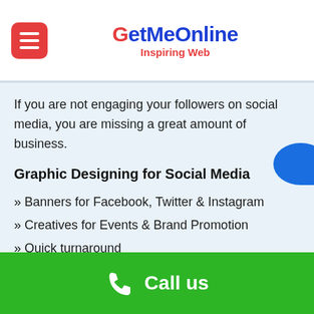GetMeOnline — Inspiring Web
If you are not engaging your followers on social media, you are missing a great amount of business.
Graphic Designing for Social Media
» Banners for Facebook, Twitter & Instagram
» Creatives for Events & Brand Promotion
» Quick turnaround
» Impressive designs
Call us